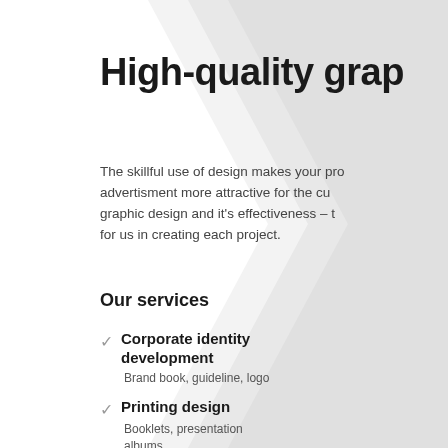High-quality grap
The skillful use of design makes your pro advertisment more attractive for the cu graphic design and it's effectiveness – t for us in creating each project.
Our services
Corporate identity development
Brand book, guideline, logo
Printing design
Booklets, presentation albums, restaurant menus
C d
Si
D p
Gi